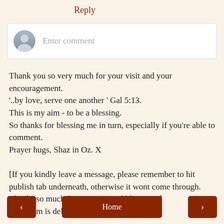Reply
[Figure (screenshot): Comment input box with grey user avatar and placeholder text 'Enter comment']
Thank you so very much for your visit and your encouragement.
'..by love, serve one another ' Gal 5:13.
This is my aim - to be a blessing.
So thanks for blessing me in turn, especially if you're able to comment.
Prayer hugs, Shaz in Oz. X

[If you kindly leave a message, please remember to hit publish tab underneath, otherwise it wont come through. Thanks so much for support. God bless you.]
(All spam is deleted.)
< Home >